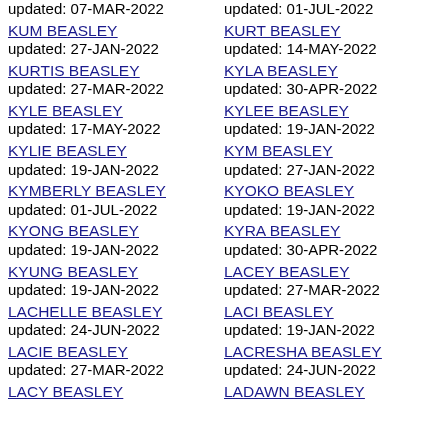KUM BEASLEY
updated: 27-JAN-2022
KURT BEASLEY
updated: 14-MAY-2022
KURTIS BEASLEY
updated: 27-MAR-2022
KYLA BEASLEY
updated: 30-APR-2022
KYLE BEASLEY
updated: 17-MAY-2022
KYLEE BEASLEY
updated: 19-JAN-2022
KYLIE BEASLEY
updated: 19-JAN-2022
KYM BEASLEY
updated: 27-JAN-2022
KYMBERLY BEASLEY
updated: 01-JUL-2022
KYOKO BEASLEY
updated: 19-JAN-2022
KYONG BEASLEY
updated: 19-JAN-2022
KYRA BEASLEY
updated: 30-APR-2022
KYUNG BEASLEY
updated: 19-JAN-2022
LACEY BEASLEY
updated: 27-MAR-2022
LACHELLE BEASLEY
updated: 24-JUN-2022
LACI BEASLEY
updated: 19-JAN-2022
LACIE BEASLEY
updated: 27-MAR-2022
LACRESHA BEASLEY
updated: 24-JUN-2022
LACY BEASLEY
LADAWN BEASLEY